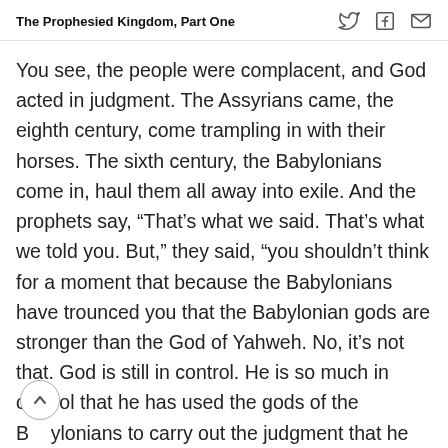The Prophesied Kingdom, Part One
You see, the people were complacent, and God acted in judgment. The Assyrians came, the eighth century, come trampling in with their horses. The sixth century, the Babylonians come in, haul them all away into exile. And the prophets say, “That’s what we said. That’s what we told you. But,” they said, “you shouldn’t think for a moment that because the Babylonians have trounced you that the Babylonian gods are stronger than the God of Yahweh. No, it’s not that. God is still in control. He is so much in control that he has used the gods of the Babylonians to carry out the judgment that he has promised.” God hasn’t changed. He’s infinite in hi…